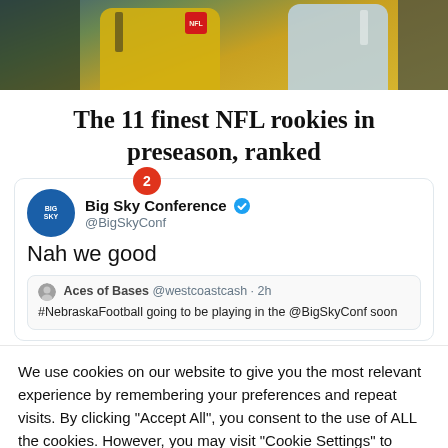[Figure (photo): Sports photo showing NFL players in yellow and blue jerseys on a field]
The 11 finest NFL rookies in preseason, ranked
[Figure (screenshot): Tweet from Big Sky Conference (@BigSkyConf) with verified badge and notification bubble showing '2'. Tweet text: 'Nah we good'. Quoted tweet from Aces of Bases @westcoastcash · 2h: '#NebraskaFootball going to be playing in the @BigSkyConf soon']
We use cookies on our website to give you the most relevant experience by remembering your preferences and repeat visits. By clicking "Accept All", you consent to the use of ALL the cookies. However, you may visit "Cookie Settings" to provide a controlled consent.
Cookie Settings
Accept All